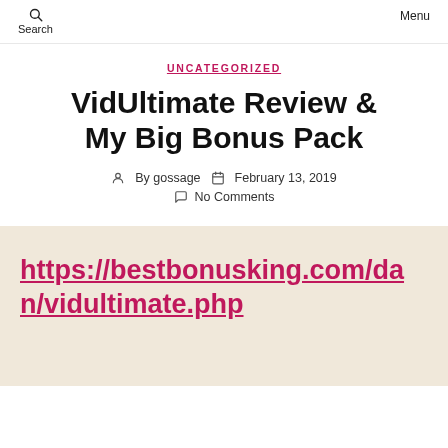Search  Menu
UNCATEGORIZED
VidUltimate Review & My Big Bonus Pack
By gossage  February 13, 2019  No Comments
https://bestbonusking.com/dan/vidultimate.php